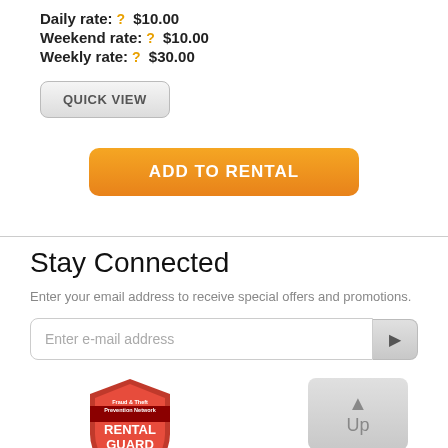Daily rate: ? $10.00
Weekend rate: ? $10.00
Weekly rate: ? $30.00
QUICK VIEW
ADD TO RENTAL
Stay Connected
Enter your email address to receive special offers and promotions.
Enter e-mail address
[Figure (logo): Rental Guard Fraud & Theft Prevention Network badge - red shield logo with ISTA mark]
[Figure (other): Up button - grey rounded rectangle with upward arrow and 'Up' text]